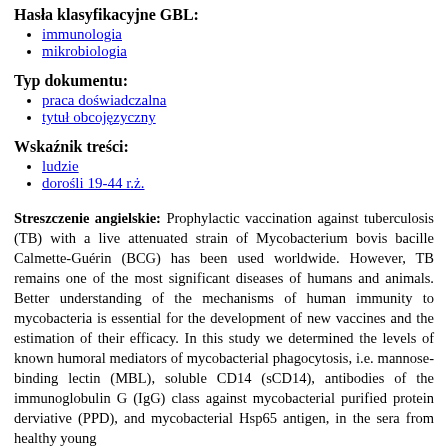Hasła klasyfikacyjne GBL:
immunologia
mikrobiologia
Typ dokumentu:
praca doświadczalna
tytuł obcojęzyczny
Wskaźnik treści:
ludzie
dorośli 19-44 r.ż.
Streszczenie angielskie: Prophylactic vaccination against tuberculosis (TB) with a live attenuated strain of Mycobacterium bovis bacille Calmette-Guérin (BCG) has been used worldwide. However, TB remains one of the most significant diseases of humans and animals. Better understanding of the mechanisms of human immunity to mycobacteria is essential for the development of new vaccines and the estimation of their efficacy. In this study we determined the levels of known humoral mediators of mycobacterial phagocytosis, i.e. mannose-binding lectin (MBL), soluble CD14 (sCD14), antibodies of the immunoglobulin G (IgG) class against mycobacterial purified protein derviative (PPD), and mycobacterial Hsp65 antigen, in the sera from healthy young